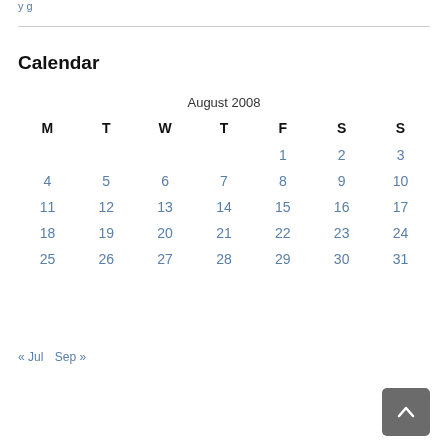Calendar
| M | T | W | T | F | S | S |
| --- | --- | --- | --- | --- | --- | --- |
|  |  |  |  | 1 | 2 | 3 |
| 4 | 5 | 6 | 7 | 8 | 9 | 10 |
| 11 | 12 | 13 | 14 | 15 | 16 | 17 |
| 18 | 19 | 20 | 21 | 22 | 23 | 24 |
| 25 | 26 | 27 | 28 | 29 | 30 | 31 |
« Jul  Sep »